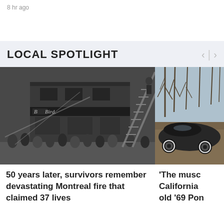8 hr ago
LOCAL SPOTLIGHT
[Figure (photo): Black and white historical photo of a fire at a building with firefighters on ladders and a crowd of onlookers, sign reads 'Bird']
50 years later, survivors remember devastating Montreal fire that claimed 37 lives
[Figure (photo): Color photo of a dark-colored muscle car (1969 Pontiac) parked outdoors near bare trees]
'The musc California old '69 Pon